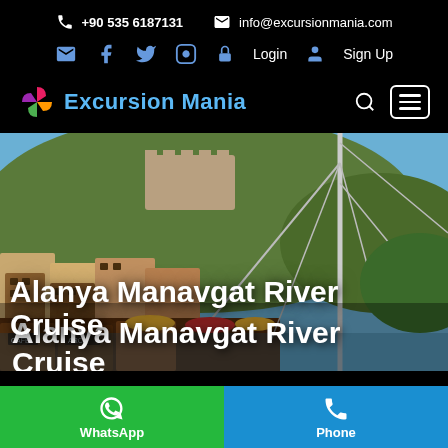+90 535 6187131  info@excursionmania.com
Login  Sign Up
Excursion Mania
[Figure (photo): Scenic view of Turkish coastal town with hillside castle ruins, stone buildings, restaurants along the waterfront, and the mast of a sailing boat in the foreground. Blue sky with clear weather.]
Alanya Manavgat River Cruise
WhatsApp  Phone